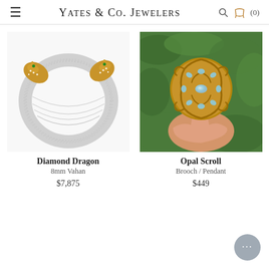Yates & Co. Jewelers
[Figure (photo): Diamond Dragon 8mm Vahan bracelet — silver mesh cuff with gold dragon-head ends set with diamonds]
Diamond Dragon
8mm Vahan
$7,875
[Figure (photo): Opal Scroll Brooch/Pendant — ornate gold filigree scroll brooch set with opal cabochons, held in hand against green foliage]
Opal Scroll
Brooch / Pendant
$449